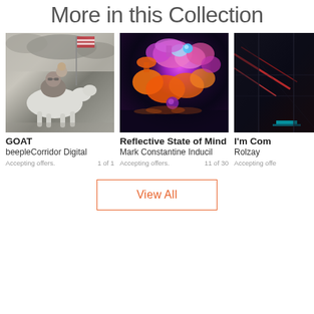More in this Collection
[Figure (photo): Surreal grayscale photo of a man riding a white goat with an American flag in background]
GOAT
beepleCorridor Digital
Accepting offers.
1 of 1
[Figure (photo): Colorful neon digital art with pink, orange, blue glowing blob shapes on dark background]
Reflective State of Mind
Mark Constantine Inducil
Accepting offers.
11 of 30
[Figure (photo): Partial dark digital art with red lines on dark blue/grey background, cropped on right]
I'm Com
Rolzay
Accepting offe
View All